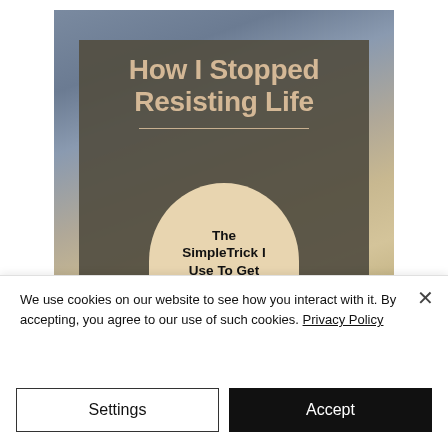[Figure (illustration): Book cover image titled 'How I Stopped Resisting Life' with a dark olive/taupe background card overlaid on a cloudy sky photograph. Below the title is a horizontal divider line, and a large beige semicircle contains the text 'The SimpleTrick I Use To Get']
We use cookies on our website to see how you interact with it. By accepting, you agree to our use of such cookies. Privacy Policy
Settings
Accept